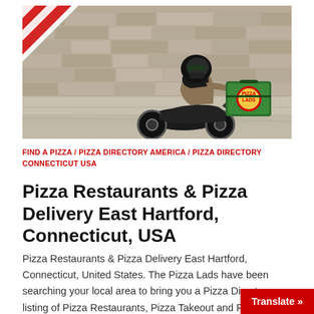[Figure (photo): Pizza delivery person on a scooter/moped, wearing a black helmet and carrying a green insulated delivery box with 'Pizza Lads' logo, riding along a stone-paved street with a stone wall in the background.]
FIND A PIZZA / PIZZA DIRECTORY AMERICA / PIZZA DIRECTORY CONNECTICUT USA
Pizza Restaurants & Pizza Delivery East Hartford, Connecticut, USA
Pizza Restaurants & Pizza Delivery East Hartford, Connecticut, United States. The Pizza Lads have been searching your local area to bring you a Pizza Directory listing of Pizza Restaurants, Pizza Takeout and Pizza Delivery East Hartf
Translate »